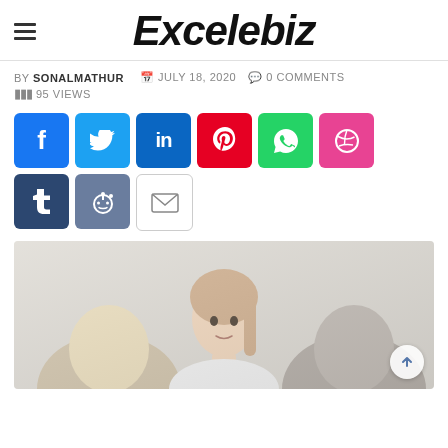Excelebiz
BY SONALMATHUR  JULY 18, 2020  0 COMMENTS  95 VIEWS
[Figure (infographic): Social sharing buttons: Facebook, Twitter, LinkedIn, Pinterest, WhatsApp, Dribbble, Tumblr, Reddit, Email]
[Figure (photo): A young woman with blonde hair and a red scarf sits across from two other people in an interview or meeting setting, against a light grey background]